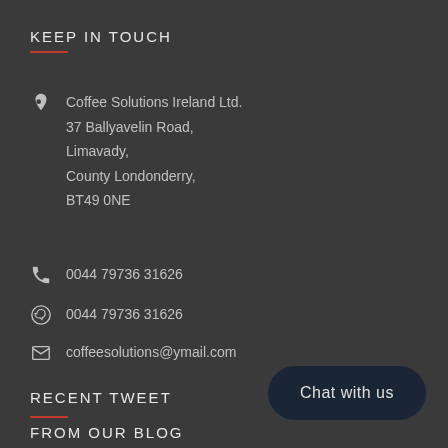KEEP IN TOUCH
Coffee Solutions Ireland Ltd.
37 Ballyavelin Road,
Limavady,
County Londonderry,
BT49 0NE
0044 79736 31626
0044 79736 31626
coffeesolutions@ymail.com
RECENT TWEET
FROM OUR BLOG
Chat with us